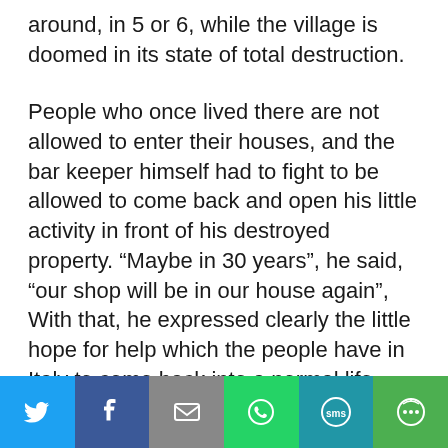around, in 5 or 6, while the village is doomed in its state of total destruction.
People who once lived there are not allowed to enter their houses, and the bar keeper himself had to fight to be allowed to come back and open his little activity in front of his destroyed property. “Maybe in 30 years”, he said, “our shop will be in our house again”, With that, he expressed clearly the little hope for help which the people have in Italy to come back into a normal life. This is the common experience here. The historic city Nocera Umbra to the north of Assisi was totally destroyed
Social share bar: Twitter, Facebook, Email, WhatsApp, SMS, More